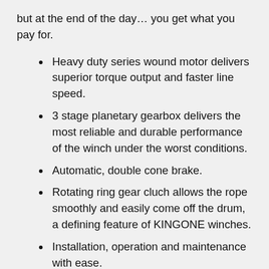but at the end of the day… you get what you pay for.
Heavy duty series wound motor delivers superior torque output and faster line speed.
3 stage planetary gearbox delivers the most reliable and durable performance of the winch under the worst conditions.
Automatic, double cone brake.
Rotating ring gear cluch allows the rope smoothly and easily come off the drum, a defining feature of KINGONE winches.
Installation, operation and maintenance with ease.